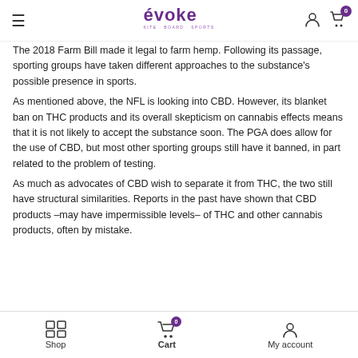Evoke — site header with logo, hamburger menu, user icon, cart icon (0)
The 2018 Farm Bill made it legal to farm hemp. Following its passage, sporting groups have taken different approaches to the substance's possible presence in sports.
As mentioned above, the NFL is looking into CBD. However, its blanket ban on THC products and its overall skepticism on cannabis effects means that it is not likely to accept the substance soon. The PGA does allow for the use of CBD, but most other sporting groups still have it banned, in part related to the problem of testing.
As much as advocates of CBD wish to separate it from THC, the two still have structural similarities. Reports in the past have shown that CBD products –may have impermissible levels– of THC and other cannabis products, often by mistake.
Shop  Cart (0)  My account